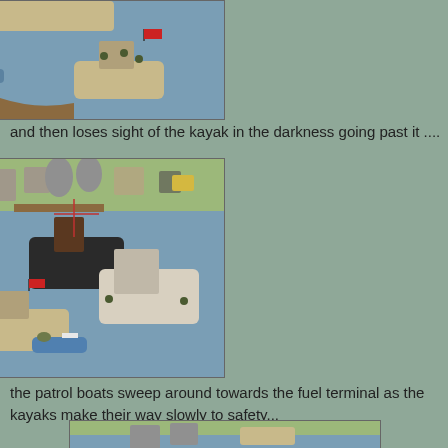[Figure (photo): Miniature wargame scene showing patrol boats on blue water surface, small kayak with blue base on left, larger tan patrol boat with figures and red flag on right, brown terrain piece at bottom.]
and then loses sight of the kayak in the darkness going past it ....
[Figure (photo): Miniature wargame scene of a harbour/fuel terminal with multiple patrol boats on blue water, green and tan shoreline with buildings and tanks, kayak with blue base bottom center, black tugboat and white patrol vessel center-right, smaller patrol boat with red flag lower-left.]
the patrol boats sweep around towards the fuel terminal as the kayaks make their way slowly to safety...
[Figure (photo): Partial view of another miniature wargame scene showing terrain and vessel tops, cropped at bottom of page.]